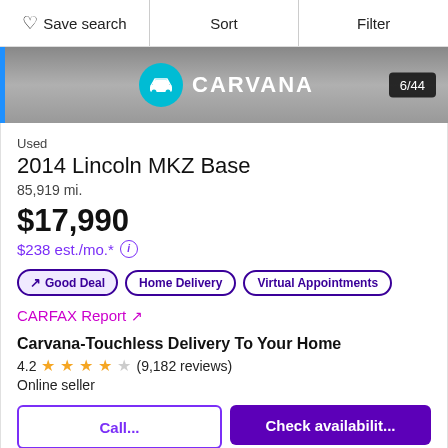Save search | Sort | Filter
[Figure (screenshot): Carvana car listing image strip showing Carvana logo and 6/44 counter]
Used
2014 Lincoln MKZ Base
85,919 mi.
$17,990
$238 est./mo.* (i)
↗ Good Deal | Home Delivery | Virtual Appointments
CARFAX Report ↗
Carvana-Touchless Delivery To Your Home
4.2 ★★★★☆ (9,182 reviews)
Online seller